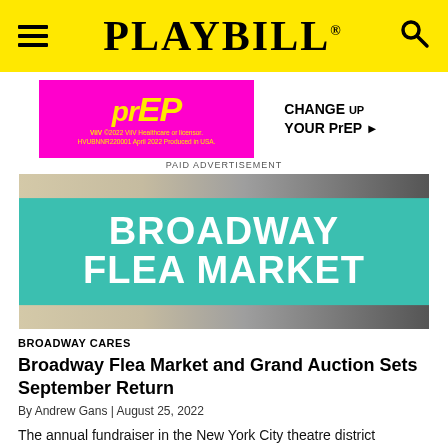PLAYBILL
[Figure (photo): Advertisement for PrEP medication by ViiV Healthcare. Pink background on left with stylized PrEP logo in yellow, white panel on right with text 'CHANGE UP YOUR PrEP' in black. Small disclaimer text: ©2022 ViiV Healthcare or licensor. HVUBNNR220001 April 2022 Produced in USA.]
PAID ADVERTISEMENT
[Figure (photo): Broadway Flea Market promotional banner image. Background shows various Broadway playbills. A large teal/turquoise band across the middle reads 'BROADWAY FLEA MARKET' in large white bold text.]
BROADWAY CARES
Broadway Flea Market and Grand Auction Sets September Return
By Andrew Gans | August 25, 2022
The annual fundraiser in the New York City theatre district